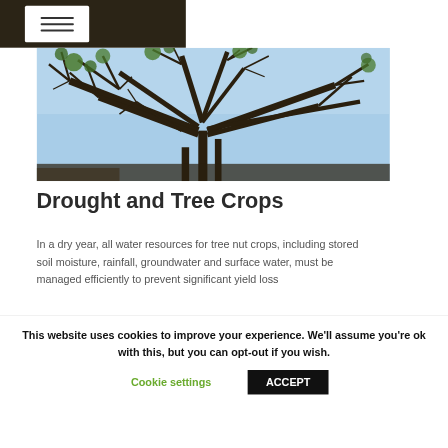[Figure (photo): A drought-stressed tree with bare and sparse branches against a blue sky, illustrating dry conditions affecting tree crops.]
Drought and Tree Crops
In a dry year, all water resources for tree nut crops, including stored soil moisture, rainfall, groundwater and surface water, must be managed efficiently to prevent significant yield loss
This website uses cookies to improve your experience. We'll assume you're ok with this, but you can opt-out if you wish.
Cookie settings   ACCEPT